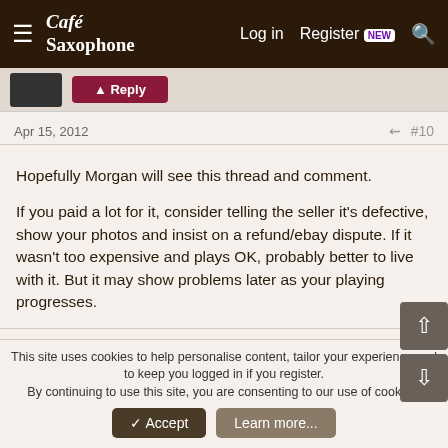Café Saxophone — Log in  Register NEW
Apr 15, 2012  #10
Hopefully Morgan will see this thread and comment.

If you paid a lot for it, consider telling the seller it's defective, show your photos and insist on a refund/ebay dispute. If it wasn't too expensive and plays OK, probably better to live with it. But it may show problems later as your playing progresses.
DJade
Member
This site uses cookies to help personalise content, tailor your experience and to keep you logged in if you register.
By continuing to use this site, you are consenting to our use of cookies.